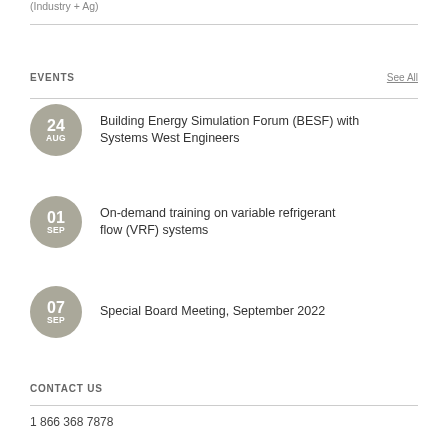(Industry + Ag)
EVENTS
See All
24 AUG — Building Energy Simulation Forum (BESF) with Systems West Engineers
01 SEP — On-demand training on variable refrigerant flow (VRF) systems
07 SEP — Special Board Meeting, September 2022
CONTACT US
1 866 368 7878